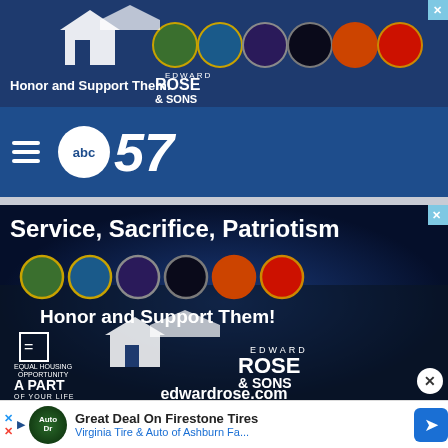[Figure (advertisement): Edward Rose & Sons military housing ad banner at top with military branch seals and 'Honor and Support Them!' text]
[Figure (logo): ABC57 news logo with hamburger menu icon on dark blue navigation bar]
[Figure (advertisement): Large Edward Rose & Sons military housing advertisement with text 'Service, Sacrifice, Patriotism', military branch seals, 'Honor and Support Them!', apart logo, edwardrose.com]
[Figure (advertisement): Bottom banner ad: Great Deal On Firestone Tires - Virginia Tire & Auto of Ashburn Fa. with auto logo and blue navigation arrow]